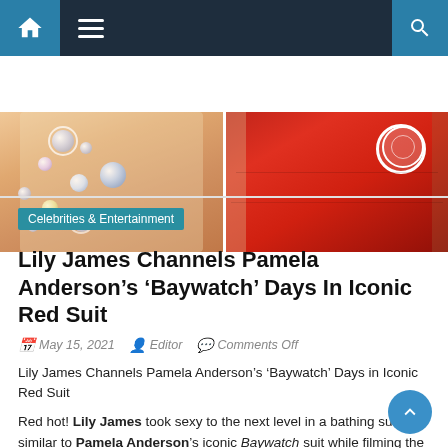Navigation bar with home, menu, and search icons
[Figure (photo): Two-panel hero image: left panel shows a person in a pale yellow bedazzled outfit with crystal/gem decorations; right panel shows a person in a red Baywatch-style swimsuit with a circular badge/logo]
Celebrities & Entertainment
Lily James Channels Pamela Anderson’s ‘Baywatch’ Days In Iconic Red Suit
May 15, 2021   Editor   Comments Off
Lily James Channels Pamela Anderson’s ‘Baywatch’ Days in Iconic Red Suit
Red hot! Lily James took sexy to the next level in a bathing suit similar to Pamela Anderson’s iconic Baywatch suit while filming the upcoming Pam & Tommy limited series.
James, 32, is set to play a young Anderson, now 53, in the